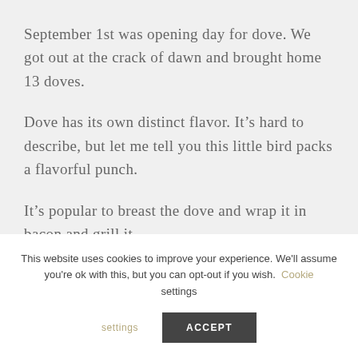September 1st was opening day for dove. We got out at the crack of dawn and brought home 13 doves.
Dove has its own distinct flavor. It’s hard to describe, but let me tell you this little bird packs a flavorful punch.
It’s popular to breast the dove and wrap it in bacon and grill it.
This website uses cookies to improve your experience. We'll assume you're ok with this, but you can opt-out if you wish. Cookie settings ACCEPT